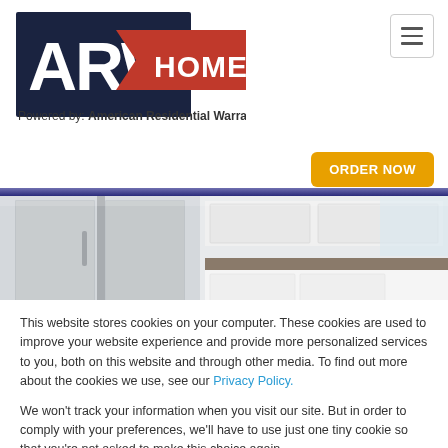[Figure (logo): ARW Home logo — dark navy 'ARW' text on navy background with red chevron shape, 'HOME' text in white on red background. Below: 'Powered by: American Residential Warranty']
[Figure (screenshot): Hamburger menu icon button in top right corner]
[Figure (screenshot): Orange 'ORDER NOW' button]
[Figure (photo): Kitchen interior photo showing stainless steel refrigerator and kitchen counter/cabinets]
This website stores cookies on your computer. These cookies are used to improve your website experience and provide more personalized services to you, both on this website and through other media. To find out more about the cookies we use, see our Privacy Policy.
We won't track your information when you visit our site. But in order to comply with your preferences, we'll have to use just one tiny cookie so that you're not asked to make this choice again.
[Figure (screenshot): Dark navy 'Accept' button]